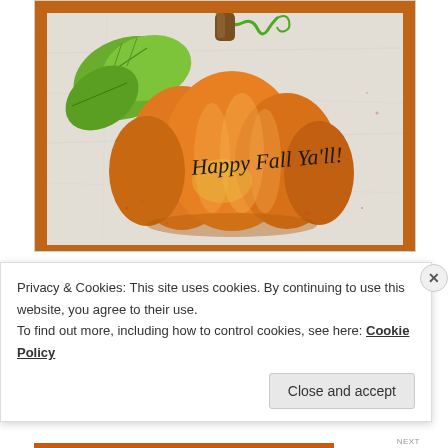[Figure (illustration): Watercolor-style illustration of an orange pumpkin with green leaves and curling vine on a crumpled paper background. Text on the pumpkin reads 'Happy Fall Ya'll!' in a handwritten font. The illustration is framed with an orange border.]
Happy Friday! (AND Happy Fall, Ya'll!)
A bit to all my more distinct and there are some additional...
Privacy & Cookies: This site uses cookies. By continuing to use this website, you agree to their use.
To find out more, including how to control cookies, see here: Cookie Policy
Close and accept